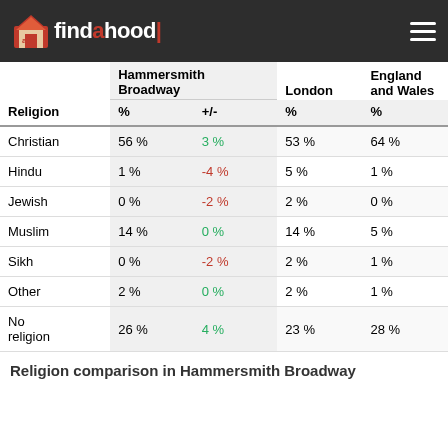findahood
| Religion | Hammersmith Broadway % | Hammersmith Broadway +/- | London % | England and Wales % |
| --- | --- | --- | --- | --- |
| Christian | 56 % | 3 % | 53 % | 64 % |
| Hindu | 1 % | -4 % | 5 % | 1 % |
| Jewish | 0 % | -2 % | 2 % | 0 % |
| Muslim | 14 % | 0 % | 14 % | 5 % |
| Sikh | 0 % | -2 % | 2 % | 1 % |
| Other | 2 % | 0 % | 2 % | 1 % |
| No religion | 26 % | 4 % | 23 % | 28 % |
Religion comparison in Hammersmith Broadway